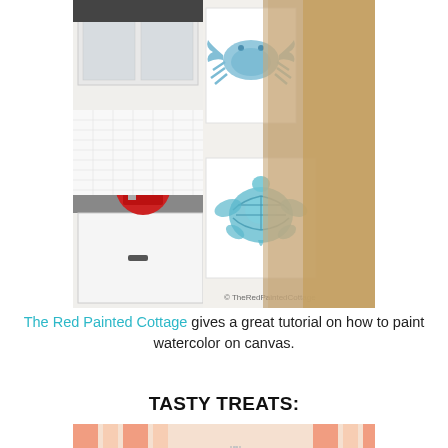[Figure (photo): Kitchen scene showing white cabinets with two canvas artworks mounted on a column between the cabinets — a blue watercolor crab on the upper canvas and a blue/green watercolor sea turtle on the lower canvas. A red KitchenAid mixer is visible on the counter. Watermark reads '© TheRedPaintedCottage'.]
The Red Painted Cottage gives a great tutorial on how to paint watercolor on canvas.
TASTY TREATS:
[Figure (photo): Close-up of silverware (spoon, fork) resting on a white dish, with colorful striped orange/pink fabric or napkin in the background.]